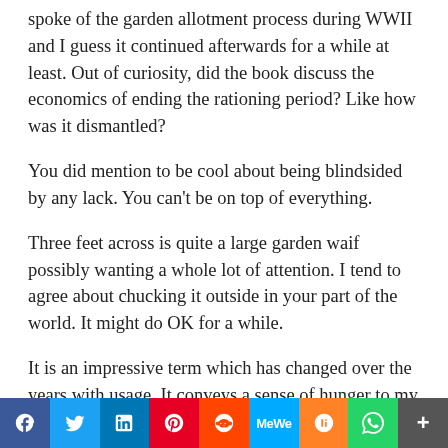spoke of the garden allotment process during WWII and I guess it continued afterwards for a while at least. Out of curiosity, did the book discuss the economics of ending the rationing period? Like how was it dismantled?
You did mention to be cool about being blindsided by any lack. You can’t be on top of everything.
Three feet across is quite a large garden waif possibly wanting a whole lot of attention. I tend to agree about chucking it outside in your part of the world. It might do OK for a while.
It is an impressive term which has changed over the years with usage. It conveys a sense of hunger to my ears, but that is me.